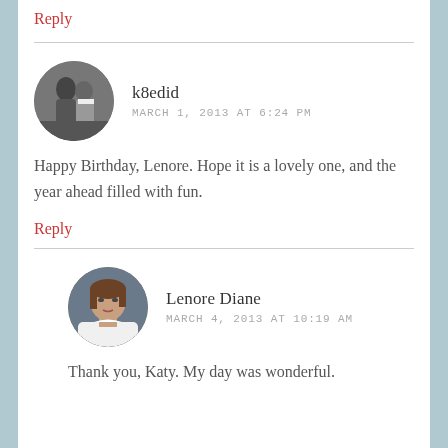Reply
k8edid
MARCH 1, 2013 AT 6:24 PM
Happy Birthday, Lenore. Hope it is a lovely one, and the year ahead filled with fun.
Reply
Lenore Diane
MARCH 4, 2013 AT 10:19 AM
Thank you, Katy. My day was wonderful.